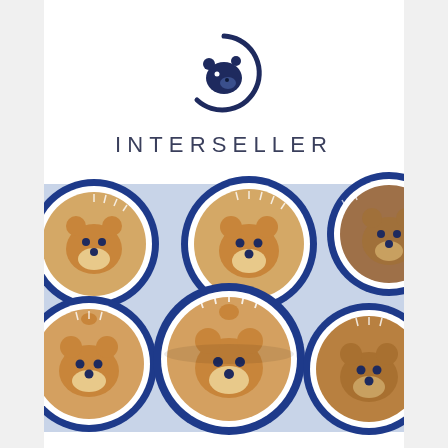[Figure (logo): Interseller logo: a dark navy blue circle with a bear head silhouette inside, partially open circle shape]
INTERSELLER
[Figure (photo): Multiple circular badge/button stickers featuring cute cartoon bear faces with brown fur, navy blue badge border with tick marks, arranged overlapping on a light blue background]